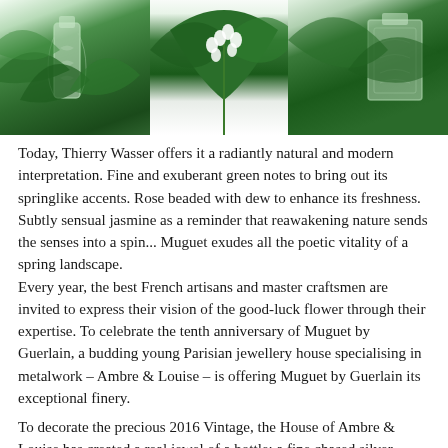[Figure (photo): Three perfume bottles with ornate silver designs on a background of green leaves, lily of the valley flowers in the center]
Today, Thierry Wasser offers it a radiantly natural and modern interpretation. Fine and exuberant green notes to bring out its springlike accents. Rose beaded with dew to enhance its freshness. Subtly sensual jasmine as a reminder that reawakening nature sends the senses into a spin... Muguet exudes all the poetic vitality of a spring landscape.
Every year, the best French artisans and master craftsmen are invited to express their vision of the good-luck flower through their expertise. To celebrate the tenth anniversary of Muguet by Guerlain, a budding young Parisian jewellery house specialising in metalwork – Ambre & Louise – is offering Muguet by Guerlain its exceptional finery.
To decorate the precious 2016 Vintage, the House of Ambre & Louise has created a real jewel of a bottle: a fine chased silver-dipped plaque, which depicts a bucolic and botanical design beautifully enhancing